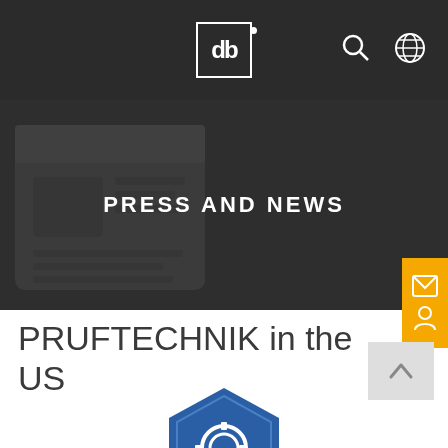db (logo) — navigation bar with search and language icons
[Figure (screenshot): Dark hero banner with newspaper/press icon watermark in background]
PRESS AND NEWS
[Figure (other): Yellow sidebar tab with envelope/mail icon and person/account icon]
PRUFTECHNIK in the US
[Figure (logo): Partial blue hexagonal logo with gear/quality icon visible at bottom of page]